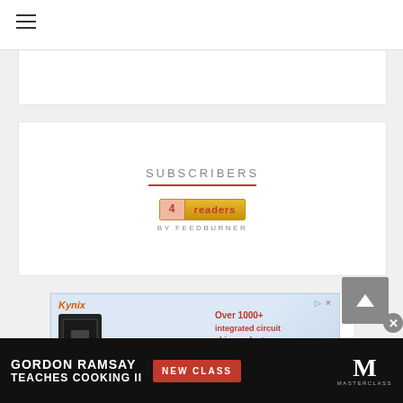≡ (hamburger menu)
[Figure (screenshot): Partial white card at top, cropped]
SUBSCRIBERS
[Figure (screenshot): FeedBurner widget showing 4 readers BY FEEDBURNER]
[Figure (screenshot): Kynix advertisement: Over 1000+ integrated circuit chip products are in stock and available now. Shows microchip image.]
[Figure (screenshot): Gordon Ramsay Teaches Cooking II - New Class - MasterClass advertisement banner]